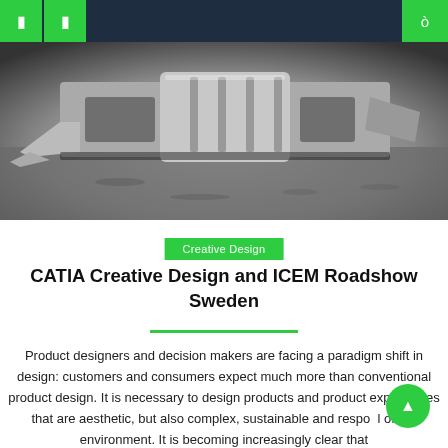Navigation header with menu icons and search
[Figure (photo): Close-up black and white photo of a futuristic car front splitter/diffuser aerodynamic component on a concrete surface]
Creative Design
CATIA Creative Design and ICEM Roadshow Sweden
Product designers and decision makers are facing a paradigm shift in design: customers and consumers expect much more than conventional product design. It is necessary to design products and product experiences that are aesthetic, but also complex, sustainable and responsible of the environment. It is becoming increasingly clear that